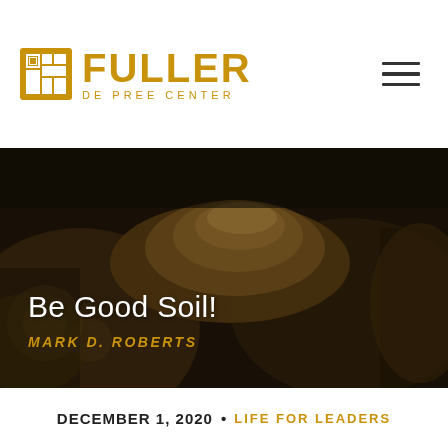[Figure (logo): Fuller De Pree Center logo with gold icon and gold text]
[Figure (photo): Dark-toned photograph of hands holding a mound of soil/dirt with hero text overlay]
Be Good Soil!
MARK D. ROBERTS
DECEMBER 1, 2020 • LIFE FOR LEADERS